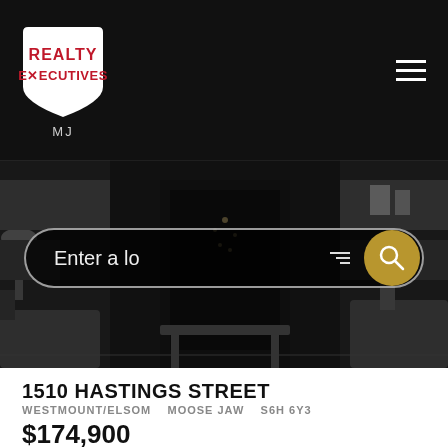[Figure (logo): Realty Executives logo - white shield shape with red REALTY EXECUTIVES text, MJ subtitle below, on black header bar with hamburger menu]
[Figure (photo): Dark interior living room scene used as hero background image with search bar overlay]
1510 HASTINGS STREET
WESTMOUNT/ELSOM   MOOSE JAW   S6H 6Y3
$174,900
RESIDENTIAL  BEDS: 3  BATHS: 1.0  864 SQ. FT.
BUILT: 1975